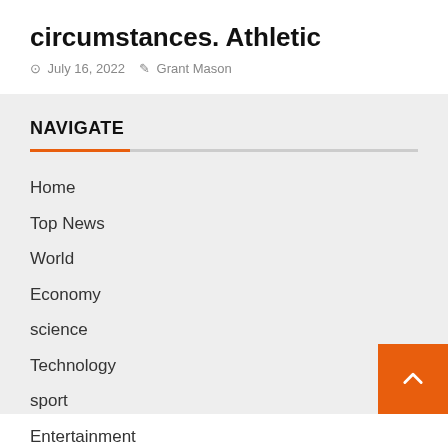circumstances. Athletic
July 16, 2022  Grant Mason
NAVIGATE
Home
Top News
World
Economy
science
Technology
sport
Entertainment
Contact Form